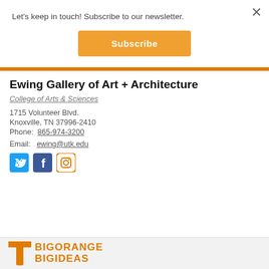×
Let's keep in touch! Subscribe to our newsletter.
Subscribe
Ewing Gallery of Art + Architecture
College of Arts & Sciences
1715 Volunteer Blvd.
Knoxville, TN 37996-2410
Phone: 865-974-3200
Email: ewing@utk.edu
[Figure (logo): Social media icons: Twitter (blue bird), Facebook (blue F), Instagram (orange outline camera)]
[Figure (logo): BIG ORANGE BIG IDEAS logo with UT T mark in orange]